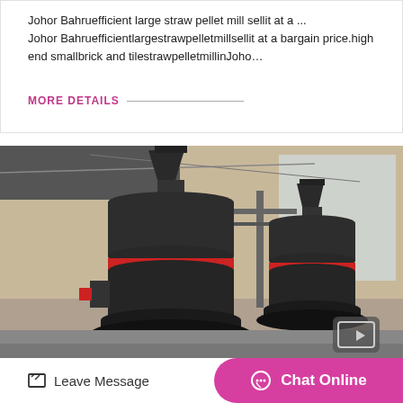Johor Bahruefficient large straw pellet mill sellit at a ...
Johor Bahruefficientlargestrawpelletmillsellit at a bargain price.high end smallbrick and tilestrawpelletmillinJoho…
MORE DETAILS ___
[Figure (photo): Industrial pellet mill machines in a factory setting, two large black cylindrical machines with red banding]
Leave Message
Chat Online